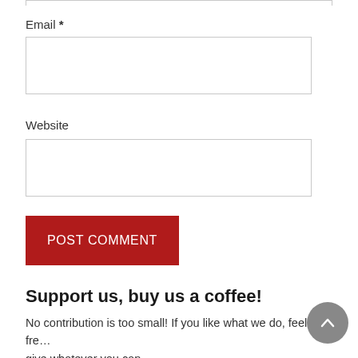Email *
[Figure (other): Email text input field (empty)]
Website
[Figure (other): Website text input field (empty)]
[Figure (other): POST COMMENT button (red background, white text)]
Support us, buy us a coffee!
No contribution is too small! If you like what we do, feel fre… give whatever you can.